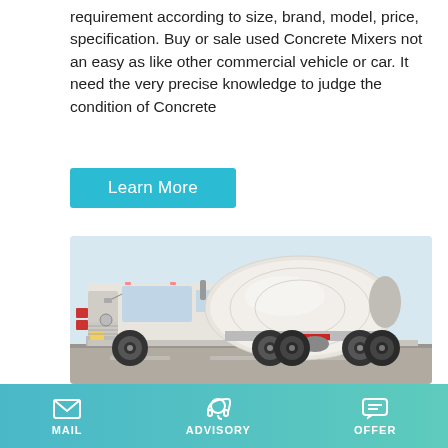requirement according to size, brand, model, price, specification. Buy or sale used Concrete Mixers not an easy as like other commercial vehicle or car. It need the very precise knowledge to judge the condition of Concrete
Learn More
[Figure (photo): A white concrete mixer truck (Foton brand) photographed from the side in a parking lot, showing the large cylindrical drum and heavy-duty chassis with multiple rear axles.]
MAIL   ADVISORY   OFFER